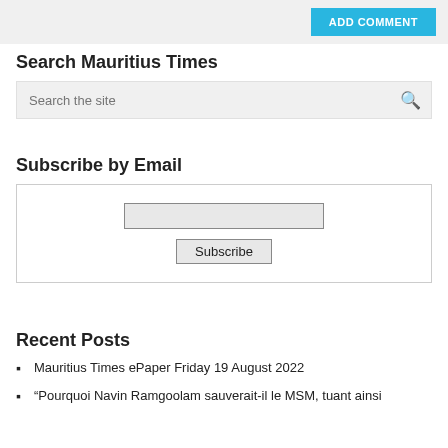[Figure (screenshot): Top gray section with ADD COMMENT button in blue]
Search Mauritius Times
[Figure (screenshot): Search input box with placeholder 'Search the site' and search icon]
Subscribe by Email
[Figure (screenshot): Subscribe by Email widget with email input and Subscribe button]
Recent Posts
Mauritius Times ePaper Friday 19 August 2022
“Pourquoi Navin Ramgoolam sauverait-il le MSM, tuant ainsi